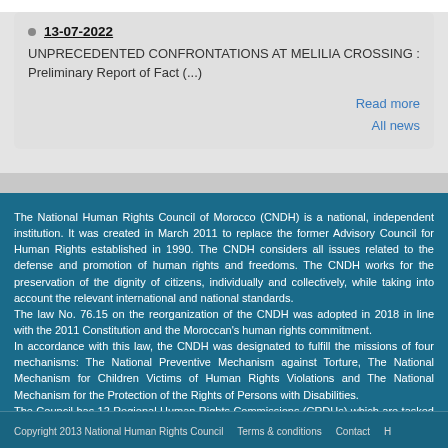13-07-2022
UNPRECEDENTED CONFRONTATIONS AT MELILIA CROSSING : Preliminary Report of Fact (...)
Read more
All news
The National Human Rights Council of Morocco (CNDH) is a national, independent institution. It was created in March 2011 to replace the former Advisory Council for Human Rights established in 1990. The CNDH considers all issues related to the defense and promotion of human rights and freedoms. The CNDH works for the preservation of the dignity of citizens, individually and collectively, while taking into account the relevant international and national standards.
The law No. 76.15 on the reorganization of the CNDH was adopted in 2018 in line with the 2011 Constitution and the Moroccan's human rights commitment.
In accordance with this law, the CNDH was designated to fulfill the missions of four mechanisms: The National Preventive Mechanism against Torture, The National Mechanism for Children Victims of Human Rights Violations and The National Mechanism for the Protection of the Rights of Persons with Disabilities.
The Council has 12 Regional Human Rights Commissions (CRDHs) which are tasked with discharging the CNDH's mandate at regional level.
The CNDH has been accredited with" A" status by the Global Alliance of National Human Rights Institutions (GANHRI) since 2001.
Copyright 2013 National Human Rights Council   Terms & conditions   Contact   H